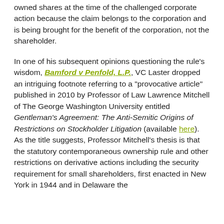owned shares at the time of the challenged corporate action because the claim belongs to the corporation and is being brought for the benefit of the corporation, not the shareholder.
In one of his subsequent opinions questioning the rule's wisdom, Bamford v Penfold, L.P., VC Laster dropped an intriguing footnote referring to a "provocative article" published in 2010 by Professor of Law Lawrence Mitchell of The George Washington University entitled Gentleman's Agreement: The Anti-Semitic Origins of Restrictions on Stockholder Litigation (available here). As the title suggests, Professor Mitchell's thesis is that the statutory contemporaneous ownership rule and other restrictions on derivative actions including the security requirement for small shareholders, first enacted in New York in 1944 and in Delaware the